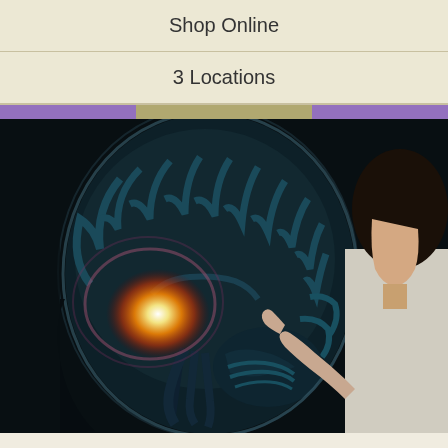Shop Online
3 Locations
[Figure (photo): Doctor in white coat pointing at a brain MRI scan displayed on a lightboard. The MRI shows a sagittal cross-section of a human brain with a brightly illuminated glowing orange/white area in the lower-front region of the brain, suggesting an area of interest or abnormality.]